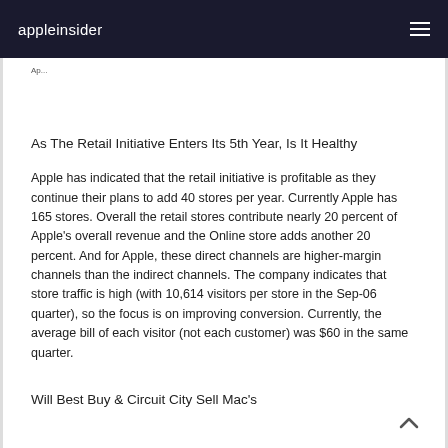appleinsider
As The Retail Initiative Enters Its 5th Year, Is It Healthy
Apple has indicated that the retail initiative is profitable as they continue their plans to add 40 stores per year. Currently Apple has 165 stores. Overall the retail stores contribute nearly 20 percent of Apple's overall revenue and the Online store adds another 20 percent. And for Apple, these direct channels are higher-margin channels than the indirect channels. The company indicates that store traffic is high (with 10,614 visitors per store in the Sep-06 quarter), so the focus is on improving conversion. Currently, the average bill of each visitor (not each customer) was $60 in the same quarter.
Will Best Buy & Circuit City Sell Mac's